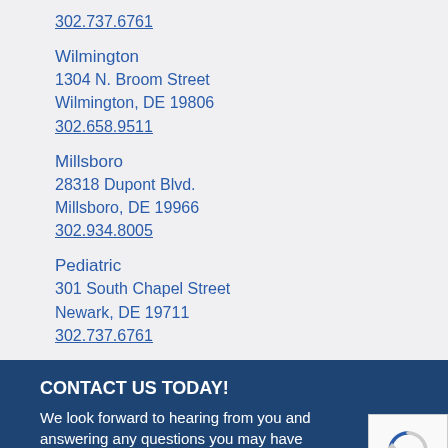302.737.6761
Wilmington
1304 N. Broom Street
Wilmington, DE 19806
302.658.9511
Millsboro
28318 Dupont Blvd.
Millsboro, DE 19966
302.934.8005
Pediatric
301 South Chapel Street
Newark, DE 19711
302.737.6761
CONTACT US TODAY!
We look forward to hearing from you and answering any questions you may have